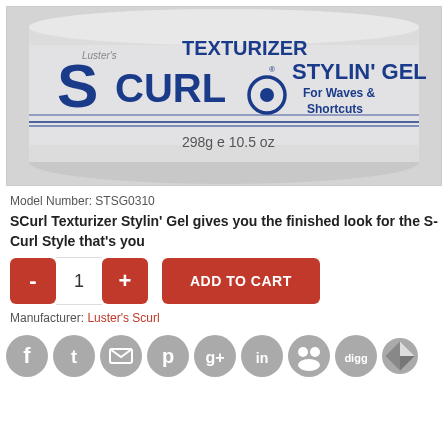[Figure (photo): Product photo of Luster's SCurl Texturizer Stylin' Gel jar, 298g / 10.5 oz, white plastic jar with blue branding]
Model Number: STSG0310
SCurl Texturizer Stylin' Gel gives you the finished look for the S-Curl Style that's you
- 1 + ADD TO CART
Manufacturer: Luster's Scurl
[Figure (infographic): Social media sharing icons: Facebook, Twitter, Email, Pinterest, Google+, LinkedIn, People, Digg, and a partial icon]